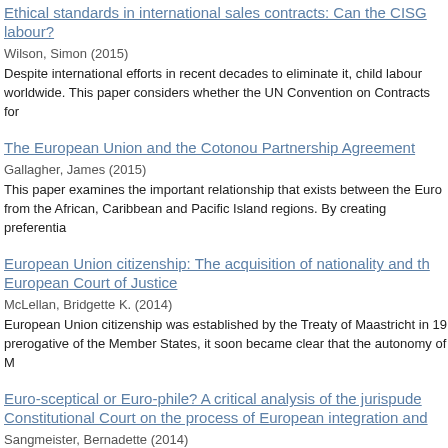Ethical standards in international sales contracts: Can the CISG labour?
Wilson, Simon (2015)
Despite international efforts in recent decades to eliminate it, child labour worldwide. This paper considers whether the UN Convention on Contracts for
The European Union and the Cotonou Partnership Agreement
Gallagher, James (2015)
This paper examines the important relationship that exists between the Euro from the African, Caribbean and Pacific Island regions. By creating preferentia
European Union citizenship: The acquisition of nationality and the European Court of Justice
McLellan, Bridgette K. (2014)
European Union citizenship was established by the Treaty of Maastricht in 19 prerogative of the Member States, it soon became clear that the autonomy of M
Euro-sceptical or Euro-phile? A critical analysis of the jurisprudence Constitutional Court on the process of European integration and
Sangmeister, Bernadette (2014)